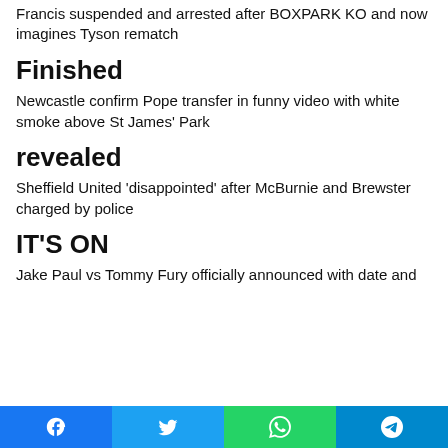Francis suspended and arrested after BOXPARK KO and now imagines Tyson rematch
Finished
Newcastle confirm Pope transfer in funny video with white smoke above St James' Park
revealed
Sheffield United 'disappointed' after McBurnie and Brewster charged by police
IT'S ON
Jake Paul vs Tommy Fury officially announced with date and